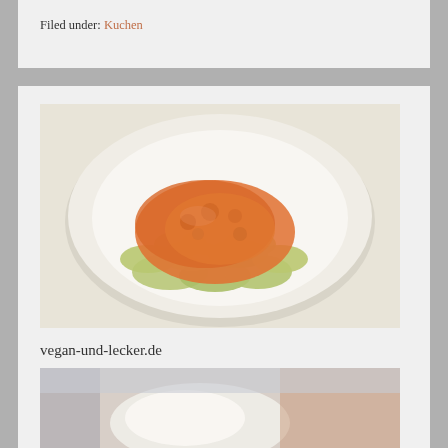Filed under: Kuchen
[Figure (photo): Photo of gnocchi or dumplings with orange tomato sauce on a white plate]
vegan-und-lecker.de
Published on September 14, 2012 9:19 pm.
Filed under: Uncategorized
[Figure (photo): Partial photo of a food dish, blurred, visible at bottom of page]